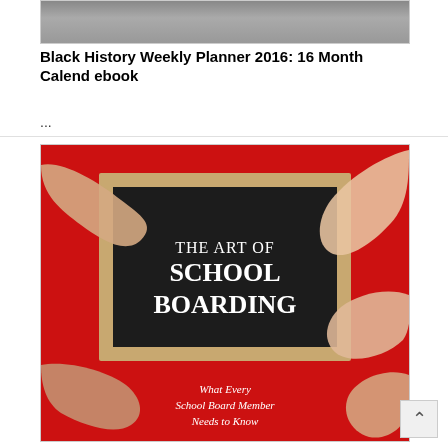[Figure (photo): Top portion of a book cover showing a person, cropped — partial image visible at top of page]
Black History Weekly Planner 2016: 16 Month Calend ebook
...
[Figure (photo): Book cover of 'The Art of School Boarding: What Every School Board Member Needs to Know' — red background with hands holding a black chalkboard displaying the title in white serif text]